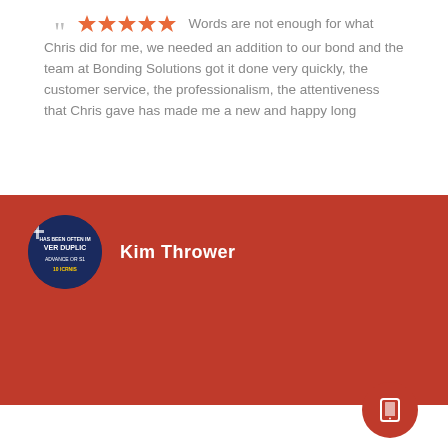Words are not enough for what Chris did for me, we needed an addition to our bond and the team at Bonding Solutions got it done very quickly, the customer service, the professionalism, the attentiveness that Chris gave has made me a new and happy long
Kim Thrower
[Figure (photo): Circular avatar photo of Kim Thrower showing a blue/dark background with text overlay]